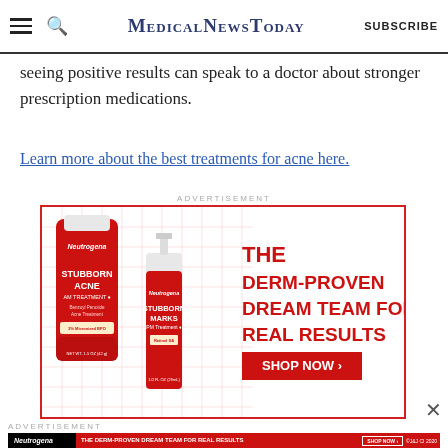MedicalNewsToday  SUBSCRIBE
seeing positive results can speak to a doctor about stronger prescription medications.
Learn more about the best treatments for acne here.
ADVERTISEMENT
[Figure (photo): Neutrogena advertisement showing two red product bottles (Stubborn Acne AM Treatment and Stubborn Marks PM Treatment) with headline 'THE DERM-PROVEN DREAM TEAM FOR REAL RESULTS' and 'SHOP NOW' button, on a white background with red grid lines and red border.]
ADVERTISEMENT
[Figure (photo): Bottom banner Neutrogena advertisement with black Neutrogena logo area and red background reading 'THE DERM-PROVEN DREAM TEAM FOR REAL RESULTS' with product images and 'SHOP NOW' button, copyright J&J CI 2020.]